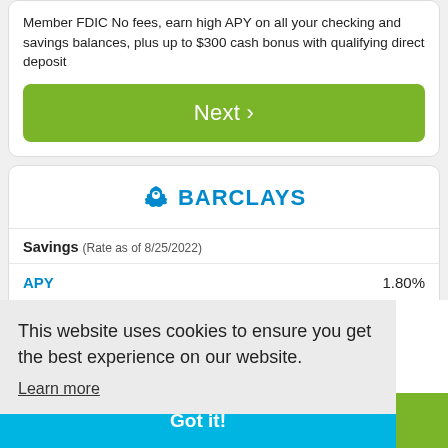Member FDIC No fees, earn high APY on all your checking and savings balances, plus up to $300 cash bonus with qualifying direct deposit
Next >
[Figure (logo): Barclays logo with eagle icon and BARCLAYS text in blue]
Savings (Rate as of 8/25/2022)
|  |  |
| --- | --- |
| APY | 1.80% |
| Rate | 1.80% |
This website uses cookies to ensure you get the best experience on our website.
Learn more
in 5x
Got it!